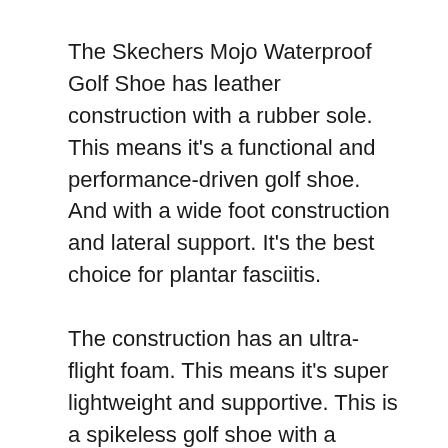The Skechers Mojo Waterproof Golf Shoe has leather construction with a rubber sole. This means it's a functional and performance-driven golf shoe. And with a wide foot construction and lateral support. It's the best choice for plantar fasciitis.
The construction has an ultra-flight foam. This means it's super lightweight and supportive. This is a spikeless golf shoe with a Gripflex construction. So when you compare it to spiked shoes, it's not at all flimsy or inaccurate.
These shoes look and feel great. They'll last for a very long time. And even after heavy use, they don't look worn out or dirty. These shoes have a slip-on design which is incredibly easy. And the